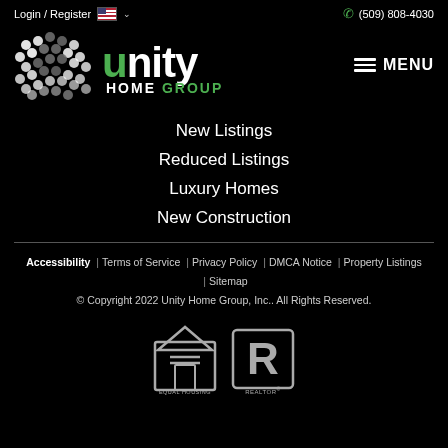Login / Register  (509) 808-4030
[Figure (logo): Unity Home Group logo with dot-pattern graphic and green/white text]
New Listings
Reduced Listings
Luxury Homes
New Construction
Accessibility | Terms of Service | Privacy Policy | DMCA Notice | Property Listings | Sitemap
© Copyright 2022 Unity Home Group, Inc.. All Rights Reserved.
[Figure (logo): Equal Housing Opportunity and Realtor logos]